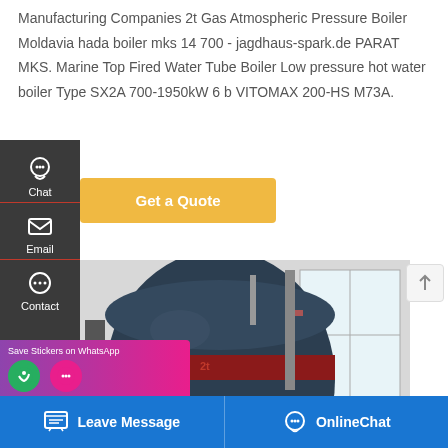Manufacturing Companies 2t Gas Atmospheric Pressure Boiler Moldavia hada boiler mks 14 700 - jagdhaus-spark.de PARAT MKS. Marine Top Fired Water Tube Boiler Low pressure hot water boiler Type SX2A 700-1950kW 6 b VITOMAX 200-HS M73A.
[Figure (screenshot): Industrial boiler equipment in a facility with pipes and windows]
Get a Quote
Chat
Email
Contact
Save Stickers on WhatsApp
Leave Message
OnlineChat